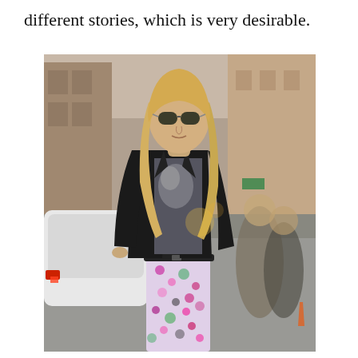different stories, which is very desirable.
[Figure (photo): A blonde woman wearing sunglasses, a black blazer, gray graphic t-shirt, black belt, and floral/abstract print pants, walking on a city street. In the background are urban buildings, a white SUV, and other pedestrians.]